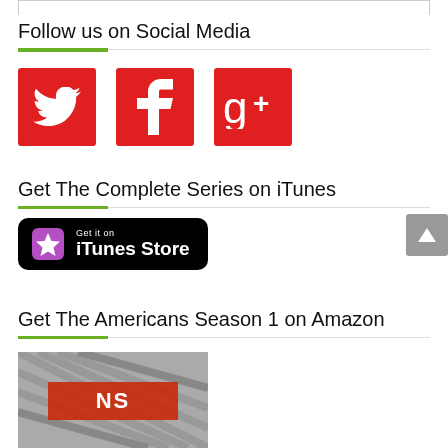Follow us on Social Media
[Figure (logo): Three red social media icon buttons: Twitter bird, Facebook f, and Google+ g+ logos]
Get The Complete Series on iTunes
[Figure (logo): iTunes Store black badge button with star icon and text 'Get it on iTunes Store']
Get The Americans Season 1 on Amazon
[Figure (photo): Partial image of The Americans Season 1 Amazon product]